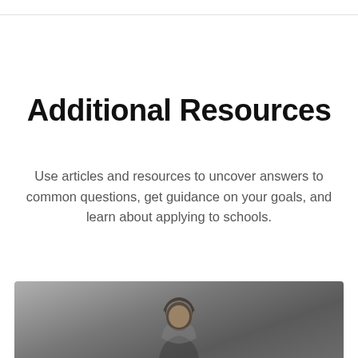Additional Resources
Use articles and resources to uncover answers to common questions, get guidance on your goals, and learn about applying to schools.
[Figure (photo): A person (woman with dark hair) photographed from the chest up, appearing in a blurred indoor setting. The image is cropped to show only the top portion of the person.]